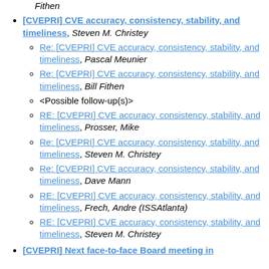Fithen
[CVEPRI] CVE accuracy, consistency, stability, and timeliness, Steven M. Christey
Re: [CVEPRI] CVE accuracy, consistency, stability, and timeliness, Pascal Meunier
Re: [CVEPRI] CVE accuracy, consistency, stability, and timeliness, Bill Fithen
<Possible follow-up(s)>
RE: [CVEPRI] CVE accuracy, consistency, stability, and timeliness, Prosser, Mike
Re: [CVEPRI] CVE accuracy, consistency, stability, and timeliness, Steven M. Christey
Re: [CVEPRI] CVE accuracy, consistency, stability, and timeliness, Dave Mann
RE: [CVEPRI] CVE accuracy, consistency, stability, and timeliness, Frech, Andre (ISSAtlanta)
RE: [CVEPRI] CVE accuracy, consistency, stability, and timeliness, Steven M. Christey
[CVEPRI] Next face-to-face Board meeting in